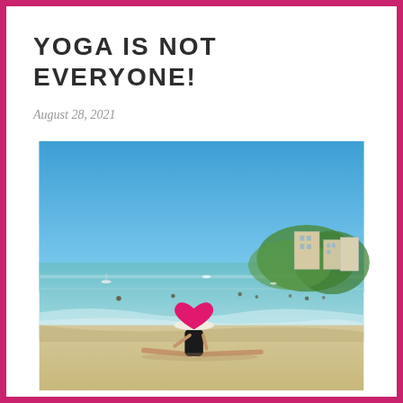YOGA IS NOT EVERYONE!
August 28, 2021
[Figure (photo): A person wearing a white wide-brim hat and black bikini performing a splits yoga pose at the shoreline of a sunny beach. A pink heart shape covers their face. In the background there is blue sky, calm turquoise sea with boats, swimmers, and a coastal hotel/resort building among green trees on the right.]